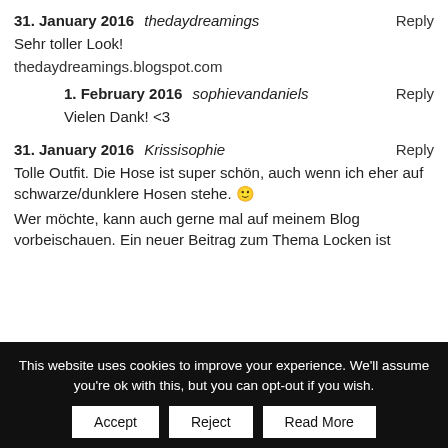31. January 2016 thedaydreamings Reply
Sehr toller Look!
thedaydreamings.blogspot.com
1. February 2016 sophievandaniels Reply
Vielen Dank! <3
31. January 2016 Krissisophie Reply
Tolle Outfit. Die Hose ist super schön, auch wenn ich eher auf schwarze/dunklere Hosen stehe. 🙂
Wer möchte, kann auch gerne mal auf meinem Blog vorbeischauen. Ein neuer Beitrag zum Thema Locken ist
This website uses cookies to improve your experience. We'll assume you're ok with this, but you can opt-out if you wish.
Accept Reject Read More